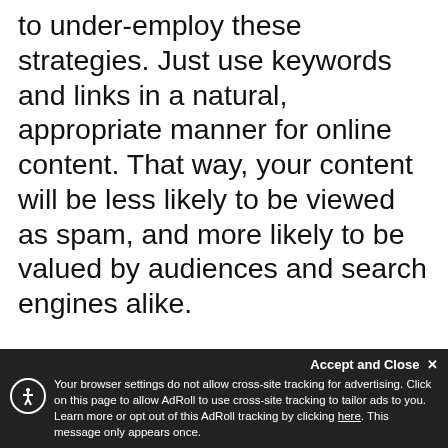to under-employ these strategies. Just use keywords and links in a natural, appropriate manner for online content. That way, your content will be less likely to be viewed as spam, and more likely to be valued by audiences and search engines alike.
Include keywords in your online content, such as blog articles, in a way that makes information relevant. Don't resort to inserting keywords in content in an articles and content that relates
Accept and Close ✕ Your browser settings do not allow cross-site tracking for advertising. Click on this page to allow AdRoll to use cross-site tracking to tailor ads to you. Learn more or opt out of this AdRoll tracking by clicking here. This message only appears once.